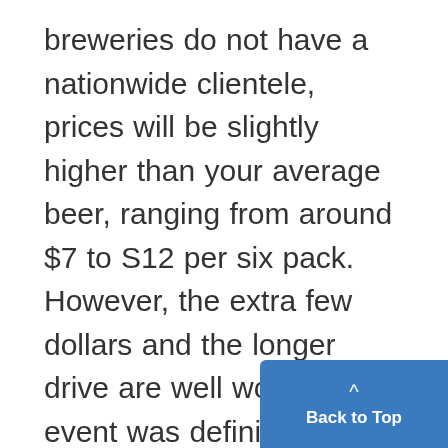breweries do not have a nationwide clientele, prices will be slightly higher than your average beer, ranging from around $7 to S12 per six pack. However, the extra few dollars and the longer drive are well worth it. This event was definitely a crowd-pleasing success. Luckily, for those beer connoisseurs who are hitting themselves for not making it to this year's beer tasting, I have news for you that will immediately remove your frown. Tonight Arbor Brewing Company is having an Octoberi